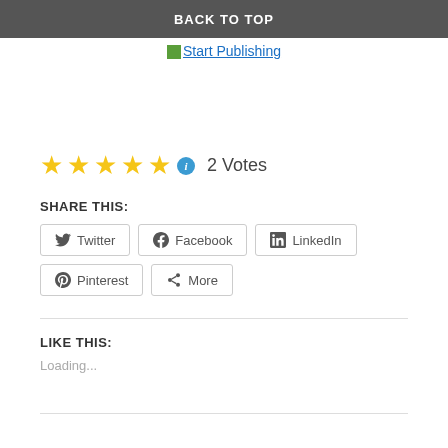BACK TO TOP
Start Publishing
★★★★★ ℹ 2 Votes
SHARE THIS:
Twitter  Facebook  LinkedIn  Pinterest  More
LIKE THIS:
Loading...